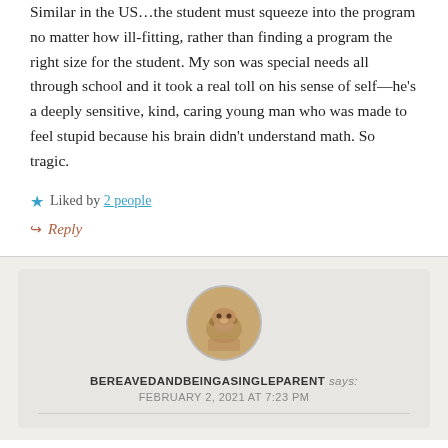Similar in the US…the student must squeeze into the program no matter how ill-fitting, rather than finding a program the right size for the student. My son was special needs all through school and it took a real toll on his sense of self—he's a deeply sensitive, kind, caring young man who was made to feel stupid because his brain didn't understand math. So tragic.
★ Liked by 2 people
↪ Reply
[Figure (photo): Circular avatar photo showing a brown/tan colored pet or animal on a wooden floor surface]
BEREAVEDANDBEINGASINGLEPARENT says: FEBRUARY 2, 2021 AT 7:23 PM